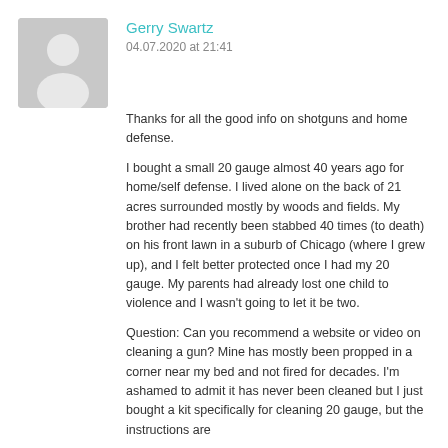Gerry Swartz
04.07.2020 at 21:41
Thanks for all the good info on shotguns and home defense.
I bought a small 20 gauge almost 40 years ago for home/self defense. I lived alone on the back of 21 acres surrounded mostly by woods and fields. My brother had recently been stabbed 40 times (to death) on his front lawn in a suburb of Chicago (where I grew up), and I felt better protected once I had my 20 gauge. My parents had already lost one child to violence and I wasn't going to let it be two.
Question: Can you recommend a website or video on cleaning a gun? Mine has mostly been propped in a corner near my bed and not fired for decades. I'm ashamed to admit it has never been cleaned but I just bought a kit specifically for cleaning 20 gauge, but the instructions are